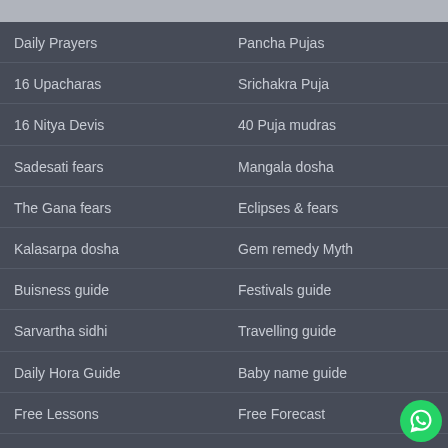Daily Prayers
Pancha Pujas
16 Upacharas
Srichakra Puja
16 Nitya Devis
40 Puja mudras
Sadesati fears
Mangala dosha
The Gana fears
Eclipses & fears
Kalasarpa dosha
Gem remedy Myth
Buisness guide
Festivals guide
Sarvartha sidhi
Travelling guide
Daily Hora Guide
Baby name guide
Free Lessons
Free Forecast